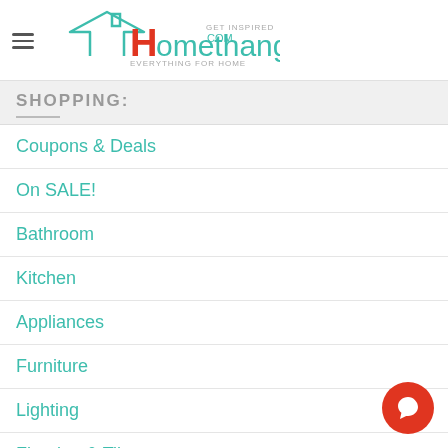Homethangs.com — GET INSPIRED EVERYTHING FOR HOME
SHOPPING:
Coupons & Deals
On SALE!
Bathroom
Kitchen
Appliances
Furniture
Lighting
Flooring & Tile